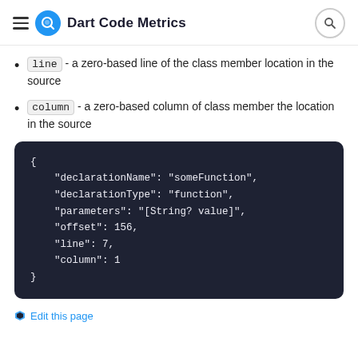Dart Code Metrics
line - a zero-based line of the class member location in the source
column - a zero-based column of class member the location in the source
[Figure (screenshot): JSON code block showing declarationName, declarationType, parameters, offset, line, column fields]
Edit this page